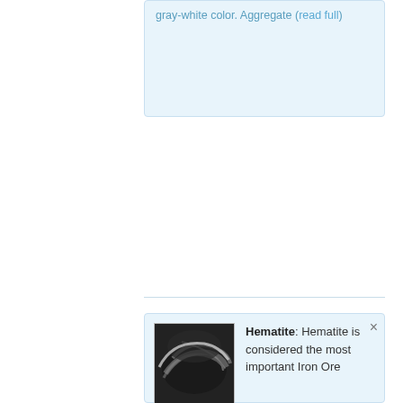gray-white color. Aggregate (read full)
[Figure (photo): Hematite mineral specimen photo showing dark gray-black metallic surface with light streak]
Hematite: Hematite is considered the most important Iron Ore